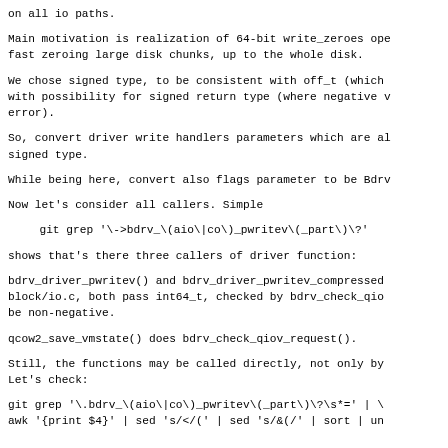on all io paths.
Main motivation is realization of 64-bit write_zeroes ope
fast zeroing large disk chunks, up to the whole disk.
We chose signed type, to be consistent with off_t (which
with possibility for signed return type (where negative v
error).
So, convert driver write handlers parameters which are al
signed type.
While being here, convert also flags parameter to be Bdrv
Now let's consider all callers. Simple
git grep '\->bdrv_\(aio\|co\)_pwritev\(_part\)\?'
shows that's there three callers of driver function:
bdrv_driver_pwritev() and bdrv_driver_pwritev_compressed
block/io.c, both pass int64_t, checked by bdrv_check_qio
be non-negative.
qcow2_save_vmstate() does bdrv_check_qiov_request().
Still, the functions may be called directly, not only by
Let's check:
git grep '\.bdrv_\(aio\|co\)_pwritev\(_part\)\?\s*=' | \
awk '{print $4}' | sed 's/ /(' | sed 's/&(/' | sort | un